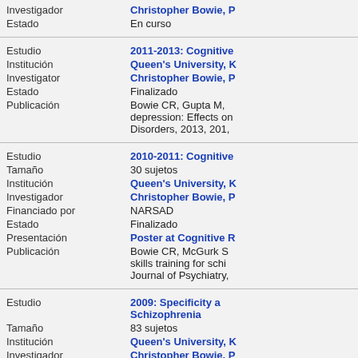| Field | Value |
| --- | --- |
| Investigador | Christopher Bowie, P... |
| Estado | En curso |
| Estudio | 2011-2013: Cognitive... |
| Institución | Queen's University, K... |
| Investigator | Christopher Bowie, P... |
| Estado | Finalizado |
| Publicación | Bowie CR, Gupta M, ... depression: Effects on... Disorders, 2013, 201,... |
| Estudio | 2010-2011: Cognitive... |
| Tamaño | 30 sujetos |
| Institución | Queen's University, K... |
| Investigador | Christopher Bowie, P... |
| Financiado por | NARSAD |
| Estado | Finalizado |
| Presentación | Poster at Cognitive R... |
| Publicación | Bowie CR, McGurk S... skills training for schi... Journal of Psychiatry,... |
| Estudio | 2009: Specificity a... Schizophrenia |
| Tamaño | 83 sujetos |
| Institución | Queen's University, K... |
| Investigador | Christopher Bowie, P... |
| Financiado por | NARSAD |
| Estado | Finalizado |
| Presentación | Cognitive Remediatio... |
| Publicación | Pendiente |
| Estudio | 2008-2011: A... |